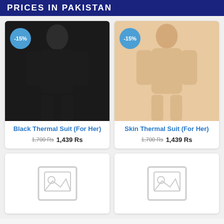PRICES IN PAKISTAN
[Figure (photo): Black thermal suit on female model, with -15% discount badge]
Black Thermal Suit (For Her)
1,700 Rs  1,439 Rs
[Figure (photo): Skin thermal suit on female model, with -15% discount badge]
Skin Thermal Suit (For Her)
1,700 Rs  1,439 Rs
[Figure (photo): Placeholder image (no product photo)]
[Figure (photo): Placeholder image (no product photo)]